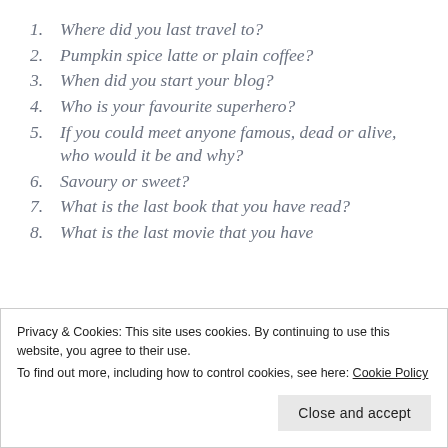1. Where did you last travel to?
2. Pumpkin spice latte or plain coffee?
3. When did you start your blog?
4. Who is your favourite superhero?
5. If you could meet anyone famous, dead or alive, who would it be and why?
6. Savoury or sweet?
7. What is the last book that you have read?
8. What is the last movie that you have
Privacy & Cookies: This site uses cookies. By continuing to use this website, you agree to their use.
To find out more, including how to control cookies, see here: Cookie Policy
Close and accept